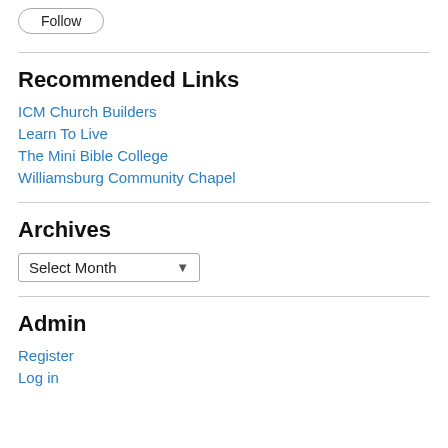[Figure (other): Follow button with rounded border]
Recommended Links
ICM Church Builders
Learn To Live
The Mini Bible College
Williamsburg Community Chapel
Archives
Select Month
Admin
Register
Log in